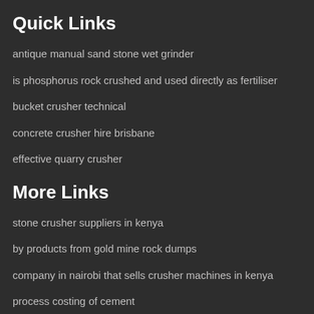Quick Links
antique manual sand stone wet grinder
is phosphorus rock crushed and used directly as fertiliser
bucket crusher technical
concrete crusher hire brisbane
effective quarry crusher
More Links
stone crusher suppliers in kenya
by products from gold mine rock dumps
company in nairobi that sells crusher machines in kenya
process costing of cement